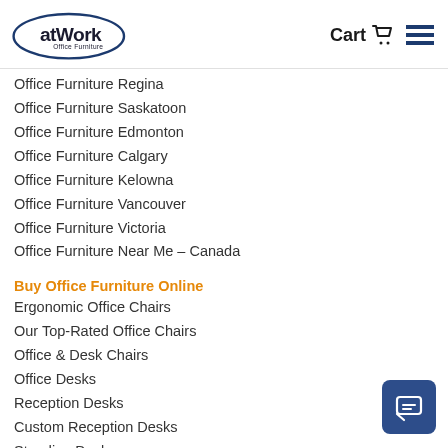[Figure (logo): atWork Office Furniture logo — oval with blue border, 'atWork' in bold dark blue, 'Office Furniture' below in smaller text]
Office Furniture Regina
Office Furniture Saskatoon
Office Furniture Edmonton
Office Furniture Calgary
Office Furniture Kelowna
Office Furniture Vancouver
Office Furniture Victoria
Office Furniture Near Me – Canada
Buy Office Furniture Online
Ergonomic Office Chairs
Our Top-Rated Office Chairs
Office & Desk Chairs
Office Desks
Reception Desks
Custom Reception Desks
Standing Desks
Cubicles & Panels
Ergonomics & Trays